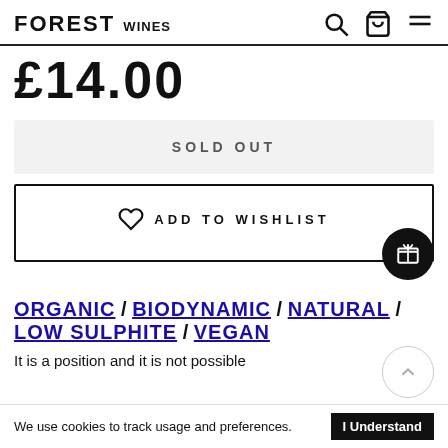FOREST WINES
£14.00
SOLD OUT
ADD TO WISHLIST
ORGANIC / BIODYNAMIC / NATURAL / LOW SULPHITE / VEGAN
It is a position and it is not possible
We use cookies to track usage and preferences.  I Understand